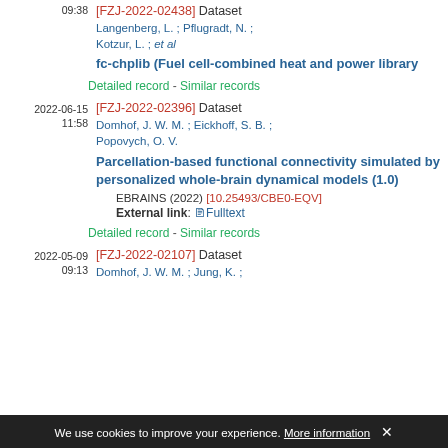09:38 [FZJ-2022-02438] Dataset Langenberg, L. ; Pflugradt, N. ; Kotzur, L. ; et al fc-chplib (Fuel cell-combined heat and power library
Detailed record - Similar records
2022-06-15 11:58 [FZJ-2022-02396] Dataset Domhof, J. W. M. ; Eickhoff, S. B. ; Popovych, O. V. Parcellation-based functional connectivity simulated by personalized whole-brain dynamical models (1.0) EBRAINS (2022) [10.25493/CBE0-EQV] External link: Fulltext
Detailed record - Similar records
2022-05-09 09:13 [FZJ-2022-02107] Dataset Domhof, J. W. M. ; Jung, K. ;
We use cookies to improve your experience. More information ✕